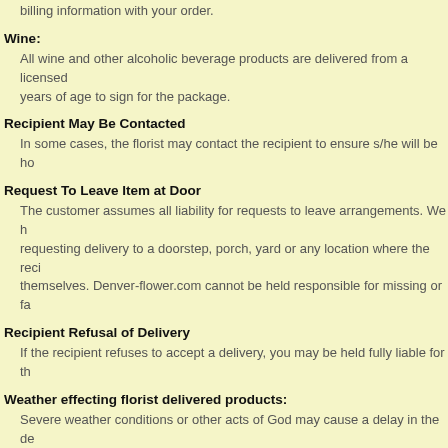billing information with your order.
Wine:
All wine and other alcoholic beverage products are delivered from a licensed years of age to sign for the package.
Recipient May Be Contacted
In some cases, the florist may contact the recipient to ensure s/he will be ho
Request To Leave Item at Door
The customer assumes all liability for requests to leave arrangements. We h requesting delivery to a doorstep, porch, yard or any location where the reci themselves. Denver-flower.com cannot be held responsible for missing or fa
Recipient Refusal of Delivery
If the recipient refuses to accept a delivery, you may be held fully liable for th
Weather effecting florist delivered products:
Severe weather conditions or other acts of God may cause a delay in the de product arrives early, the recipient can enjoy the gift early, but we are unable deliveries
Weather effecting products that are shipped:
Denver Flower .com is not responsible for delays in delivery caused by seve and cannot reimburse delivery fees on such orders. In the event that a produ the gift early, but we are unable to offer a discount based on early deliveries